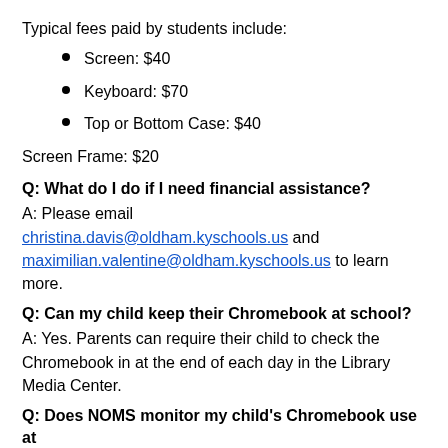Typical fees paid by students include:
Screen: $40
Keyboard: $70
Top or Bottom Case: $40
Screen Frame: $20
Q:  What do I do if I need financial assistance?
A: Please email christina.davis@oldham.kyschools.us and maximilian.valentine@oldham.kyschools.us to learn more.
Q: Can my child keep their Chromebook at school?
A: Yes. Parents can require their child to check the Chromebook in at the end of each day in the Library Media Center.
Q: Does NOMS monitor my child's Chromebook use at